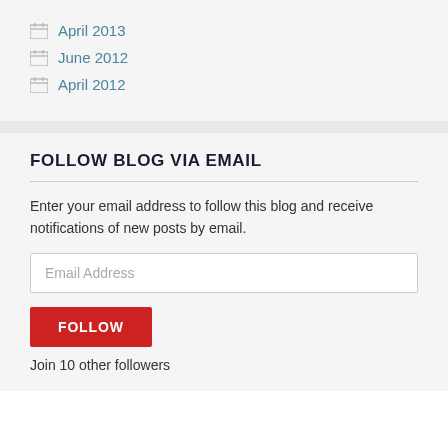April 2013
June 2012
April 2012
FOLLOW BLOG VIA EMAIL
Enter your email address to follow this blog and receive notifications of new posts by email.
Email Address
FOLLOW
Join 10 other followers